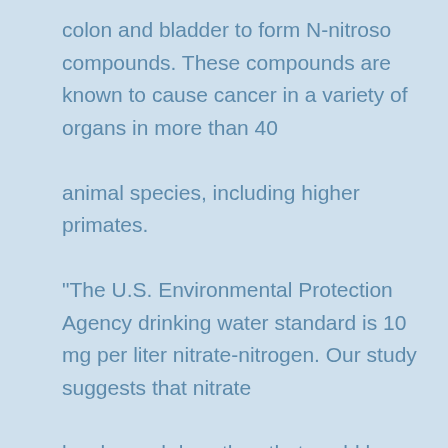colon and bladder to form N-nitroso compounds. These compounds are known to cause cancer in a variety of organs in more than 40

animal species, including higher primates.

"The U.S. Environmental Protection Agency drinking water standard is 10 mg per liter nitrate-nitrogen. Our study suggests that nitrate

levels much less than that could be a serious health concern," Weyer said. Weyer emphasized that additional studies are needed to look at